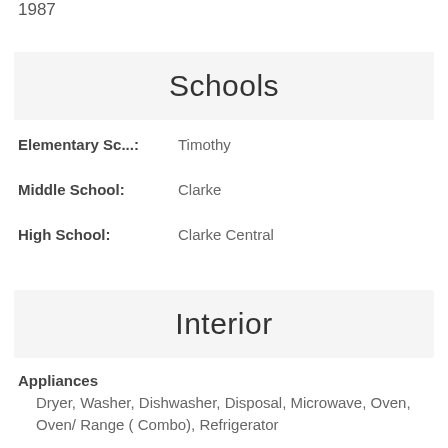1987
Schools
Elementary Sc...: Timothy
Middle School: Clarke
High School: Clarke Central
Interior
Appliances
Dryer, Washer, Dishwasher, Disposal, Microwave, Oven, Oven/Range ( Combo), Refrigerator
Cooling
Central Air